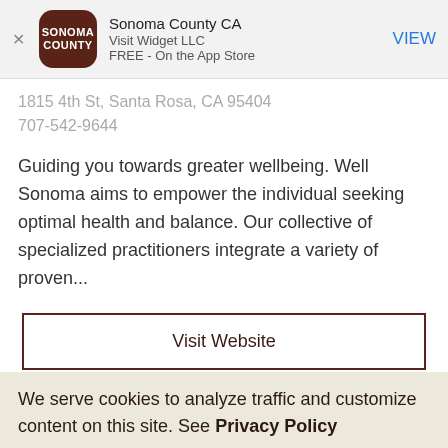[Figure (screenshot): App Store banner with Sonoma County app icon (brown rounded square with SONOMA COUNTY text), app title 'Sonoma County CA', developer 'Visit Widget LLC', 'FREE - On the App Store', and a blue VIEW button]
1815 4th St, Santa Rosa, CA 95404
707-542-9644
Guiding you towards greater wellbeing. Well Sonoma aims to empower the individual seeking optimal health and balance. Our collective of specialized practitioners integrate a variety of proven...
Visit Website
Add to My Plan
We serve cookies to analyze traffic and customize content on this site. See Privacy Policy